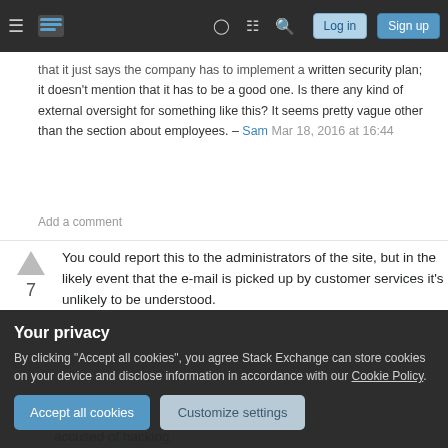Stack Exchange navigation bar with hamburger menu, logo, help, chat, search, Log in, Sign up
that it just says the company has to implement a written security plan; it doesn't mention that it has to be a good one. Is there any kind of external oversight for something like this? It seems pretty vague other than the section about employees. – Sam Mar 18, 2016 at 16:44
Add a comment
You could report this to the administrators of the site, but in the likely event that the e-mail is picked up by customer services it's unlikely to be understood.
Your privacy
By clicking "Accept all cookies", you agree Stack Exchange can store cookies on your device and disclose information in accordance with our Cookie Policy.
Accept all cookies  Customize settings
accused of hacking.